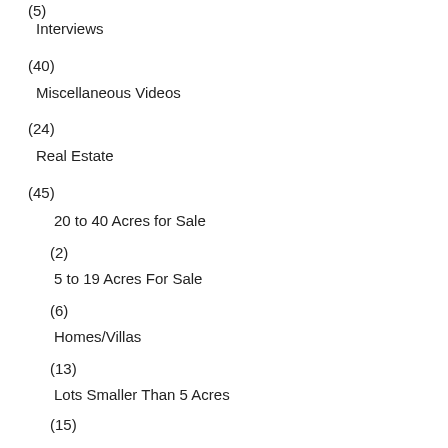(5)
Interviews
(40)
Miscellaneous Videos
(24)
Real Estate
(45)
20 to 40 Acres for Sale
(2)
5 to 19 Acres For Sale
(6)
Homes/Villas
(13)
Lots Smaller Than 5 Acres
(15)
Montana Y Mar Project
(12)